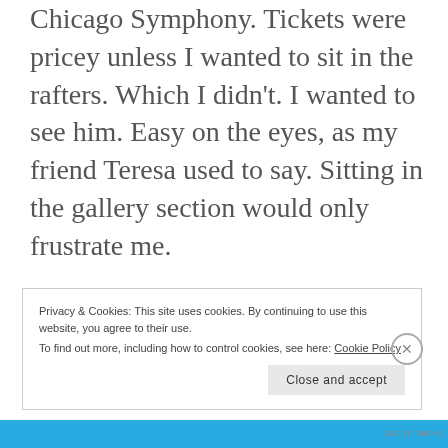Chicago Symphony. Tickets were pricey unless I wanted to sit in the rafters. Which I didn't. I wanted to see him. Easy on the eyes, as my friend Teresa used to say. Sitting in the gallery section would only frustrate me.
I considered a free concert at
Privacy & Cookies: This site uses cookies. By continuing to use this website, you agree to their use.
To find out more, including how to control cookies, see here: Cookie Policy